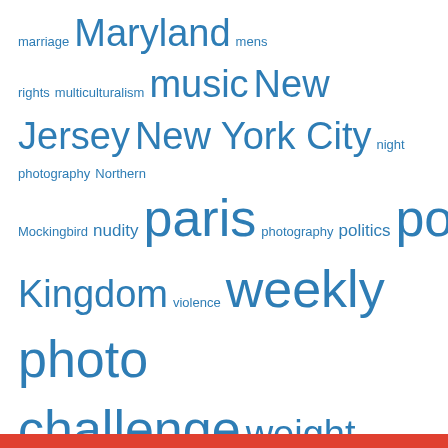marriage Maryland mens rights multiculturalism music New Jersey New York City night photography Northern Mockingbird nudity paris photography politics postaday relationships religion school secularism sex sexuality United Kingdom violence weekly photo challenge weight wildlife windows
Pages
Privacy & Cookies: This site uses cookies. By continuing to use this website, you agree to their use. To find out more, including how to control cookies, see here: Cookie Policy
Close and accept